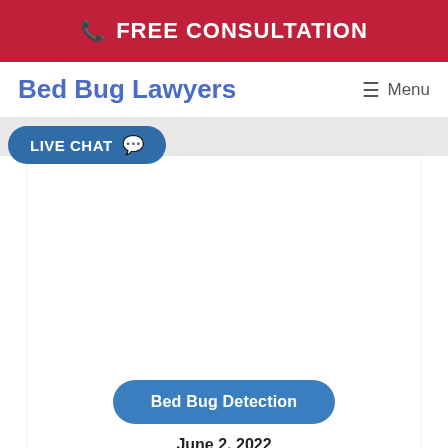FREE CONSULTATION
Bed Bug Lawyers
Menu
LIVE CHAT
[Figure (screenshot): White image area placeholder for article image]
Bed Bug Detection
June 2, 2022
Carpet Beetles vs. Bed Bugs